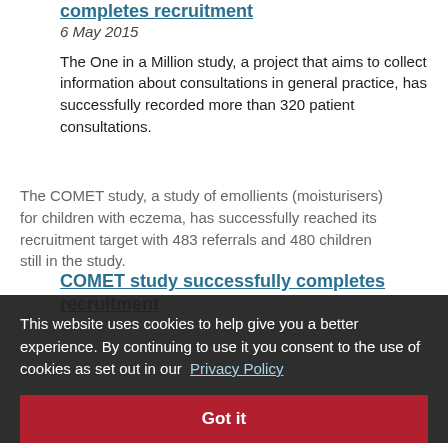completes recruitment
6 May 2015
The One in a Million study, a project that aims to collect information about consultations in general practice, has successfully recorded more than 320 patient consultations.
COMET study successfully completes recruitment
The COMET study, a study of emollients (moisturisers) for children with eczema, has successfully reached its recruitment target with 483 referrals and 480 children still in the study.
Study links quitting smoking with
This website uses cookies to help give you a better experience. By continuing to use it you consent to the use of cookies as set out in our Privacy Policy
Got it